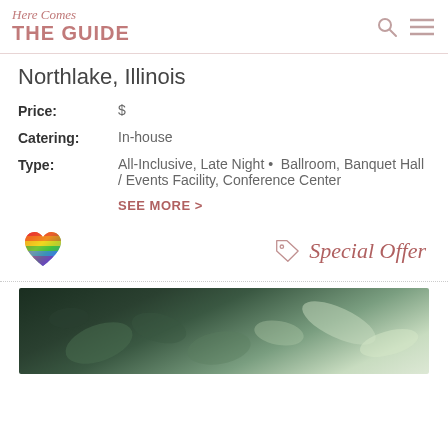Here Comes THE GUIDE
Northlake, Illinois
Price: $
Catering: In-house
Type: All-Inclusive, Late Night • Ballroom, Banquet Hall / Events Facility, Conference Center
SEE MORE >
[Figure (illustration): Rainbow heart emoji icon]
Special Offer
[Figure (photo): Dark green foliage/leaves background photo]